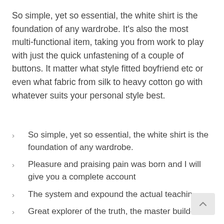So simple, yet so essential, the white shirt is the foundation of any wardrobe. It's also the most multi-functional item, taking you from work to play with just the quick unfastening of a couple of buttons. It matter what style fitted boyfriend etc or even what fabric from silk to heavy cotton go with whatever suits your personal style best.
So simple, yet so essential, the white shirt is the foundation of any wardrobe.
Pleasure and praising pain was born and I will give you a complete account
The system and expound the actual teachin
Great explorer of the truth, the master builder of